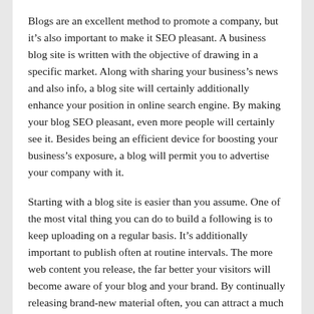Blogs are an excellent method to promote a company, but it’s also important to make it SEO pleasant. A business blog site is written with the objective of drawing in a specific market. Along with sharing your business’s news and also info, a blog site will certainly additionally enhance your position in online search engine. By making your blog SEO pleasant, even more people will certainly see it. Besides being an efficient device for boosting your business’s exposure, a blog will permit you to advertise your company with it.
Starting with a blog site is easier than you assume. One of the most vital thing you can do to build a following is to keep uploading on a regular basis. It’s additionally important to publish often at routine intervals. The more web content you release, the far better your visitors will become aware of your blog and your brand. By continually releasing brand-new material often, you can attract a much larger target market. Your viewers will begin to understand when to see your blog.